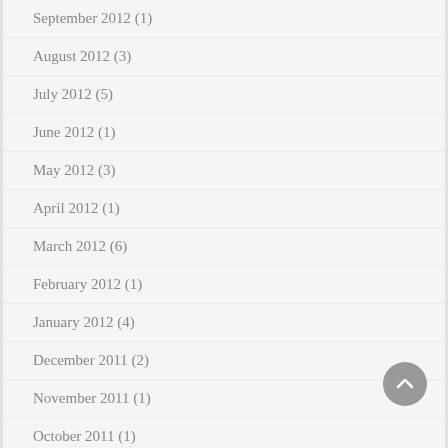September 2012 (1)
August 2012 (3)
July 2012 (5)
June 2012 (1)
May 2012 (3)
April 2012 (1)
March 2012 (6)
February 2012 (1)
January 2012 (4)
December 2011 (2)
November 2011 (1)
October 2011 (1)
September 2011 (2)
August 2011 (1)